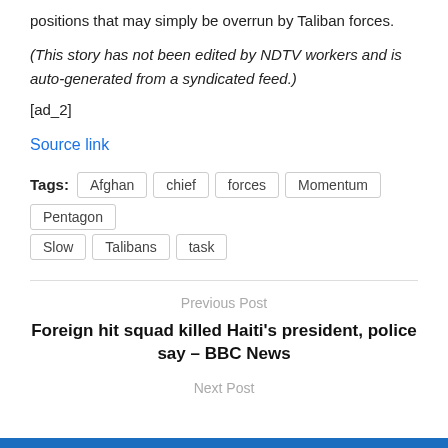positions that may simply be overrun by Taliban forces.
(This story has not been edited by NDTV workers and is auto-generated from a syndicated feed.)
[ad_2]
Source link
Tags: Afghan  chief  forces  Momentum  Pentagon  Slow  Talibans  task
Previous Post
Foreign hit squad killed Haiti's president, police say – BBC News
Next Post